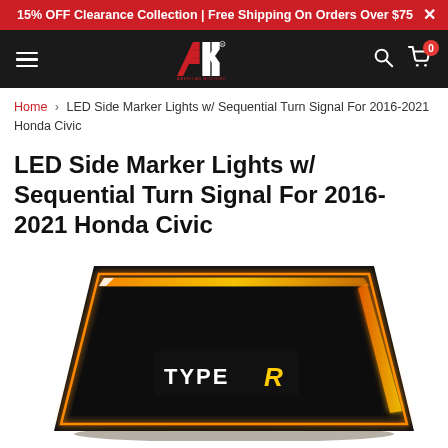15% OFF Clearance Collection | Free Shipping On Orders Over $75
[Figure (logo): American Modified logo - stylized red and white A1 lettering on black navbar]
Home > LED Side Marker Lights w/ Sequential Turn Signal For 2016-2021 Honda Civic
LED Side Marker Lights w/ Sequential Turn Signal For 2016-2021 Honda Civic
[Figure (photo): LED side marker light with sequential turn signal glowing amber/orange, with Type R logo illuminated on black housing]